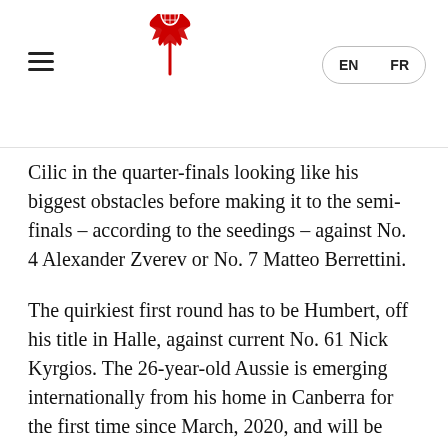Tennis Canada website header with logo and EN/FR language switcher
Cilic in the quarter-finals looking like his biggest obstacles before making it to the semi-finals – according to the seedings – against No. 4 Alexander Zverev or No. 7 Matteo Berrettini.
The quirkiest first round has to be Humbert, off his title in Halle, against current No. 61 Nick Kyrgios. The 26-year-old Aussie is emerging internationally from his home in Canberra for the first time since March, 2020, and will be playing only his seventh match in 16 months. But that happens to include a 5-7, 6-4, 3-6, 7-6(2), 6-4 victory over Humbert in the second round of this